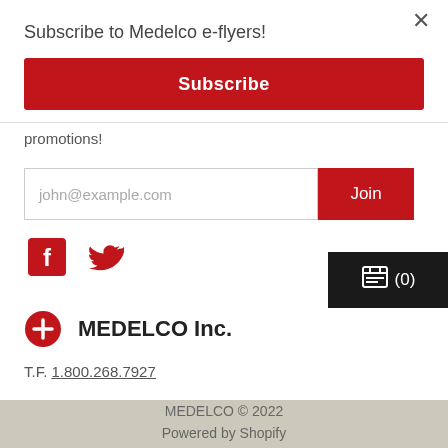Subscribe to Medelco e-flyers!
Subscribe
promotions!
john@example.com
Join
[Figure (logo): Facebook icon (red square F) and Twitter bird icon (red)]
(0)
MEDELCO Inc.
T.F. 1.800.268.7927
MEDELCO © 2022
Powered by Shopify